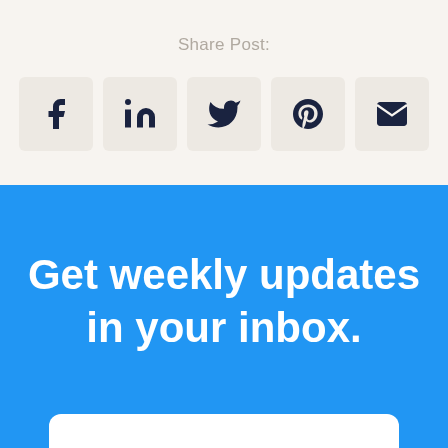Share Post:
[Figure (infographic): Five social media sharing icons in rounded square boxes: Facebook, LinkedIn, Twitter, Pinterest, Email]
Get weekly updates in your inbox.